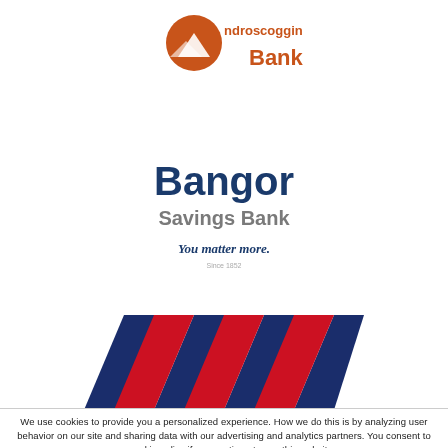[Figure (logo): Androscoggin Bank logo — orange swoosh/diamond icon above the bank name in orange text]
[Figure (logo): Bangor Savings Bank logo — bold dark blue 'Bangor' with gray 'Savings Bank' below, italic tagline 'You matter more.' and small 'Since 1852' text]
[Figure (logo): Bank of America logo — partial diagonal stripe pattern in red, white, and dark blue, cut off at bottom]
We use cookies to provide you a personalized experience. How we do this is by analyzing user behavior on our site and sharing data with our advertising and analytics partners. You consent to our cookie policy if you continue to use this website.
I UNDERSTAND